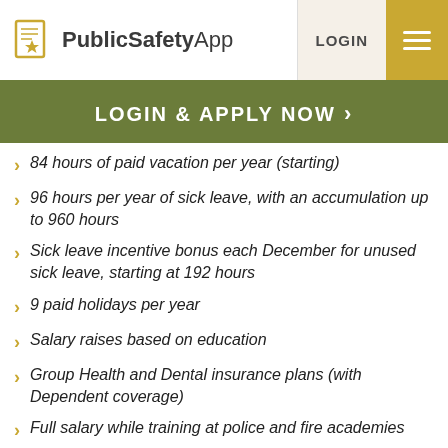PublicSafetyApp
LOGIN & APPLY NOW ›
84 hours of paid vacation per year (starting)
96 hours per year of sick leave, with an accumulation up to 960 hours
Sick leave incentive bonus each December for unused sick leave, starting at 192 hours
9 paid holidays per year
Salary raises based on education
Group Health and Dental insurance plans (with Dependent coverage)
Full salary while training at police and fire academies
Take home car plan
Uniform and equipment provided
Credit union membership available
Deferred Compensation Program
City Retirement Plan paid by City